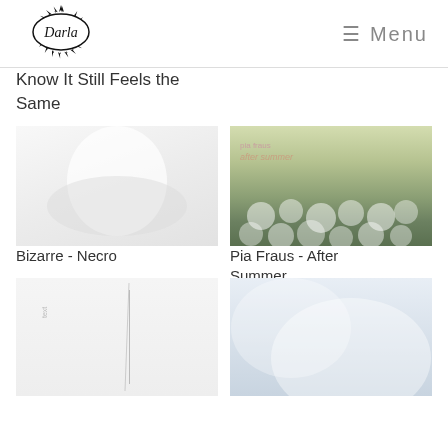Darla — Menu
Know It Still Feels the Same
[Figure (photo): Pale white faded album cover for Bizarre - Necro]
[Figure (photo): Album cover for Pia Fraus - After Summer showing green flower field with text overlay]
Bizarre - Necro
Pia Fraus - After Summer
[Figure (photo): Pale white album cover with thin vertical line]
[Figure (photo): Pale blue and white album cover]